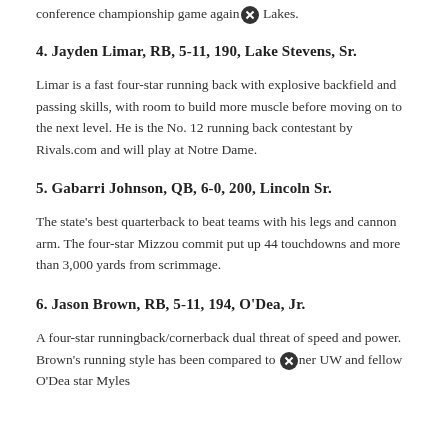conference championship game against Lakes.
4. Jayden Limar, RB, 5-11, 190, Lake Stevens, Sr.
Limar is a fast four-star running back with explosive backfield and passing skills, with room to build more muscle before moving on to the next level. He is the No. 12 running back contestant by Rivals.com and will play at Notre Dame.
5. Gabarri Johnson, QB, 6-0, 200, Lincoln Sr.
The state's best quarterback to beat teams with his legs and cannon arm. The four-star Mizzou commit put up 44 touchdowns and more than 3,000 yards from scrimmage.
6. Jason Brown, RB, 5-11, 194, O'Dea, Jr.
A four-star runningback/cornerback dual threat of speed and power. Brown's running style has been compared to [icon] her UW and fellow O'Dea star Myles